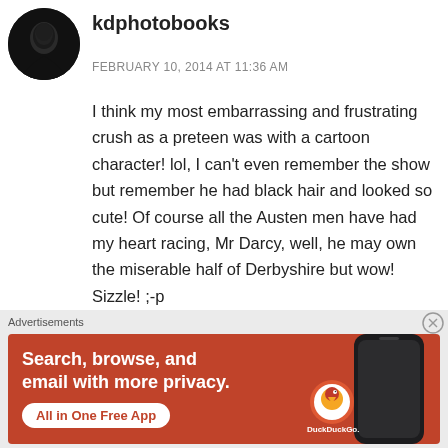[Figure (photo): Circular profile photo of user kdphotobooks — dark portrait photo of a person]
kdphotobooks
FEBRUARY 10, 2014 AT 11:36 AM
I think my most embarrassing and frustrating crush as a preteen was with a cartoon character! lol, I can't even remember the show but remember he had black hair and looked so cute! Of course all the Austen men have had my heart racing, Mr Darcy, well, he may own the miserable half of Derbyshire but wow! Sizzle! ;-p
Advertisements
[Figure (illustration): DuckDuckGo advertisement banner on orange/red background. Text: Search, browse, and email with more privacy. All in One Free App. DuckDuckGo logo with phone graphic.]